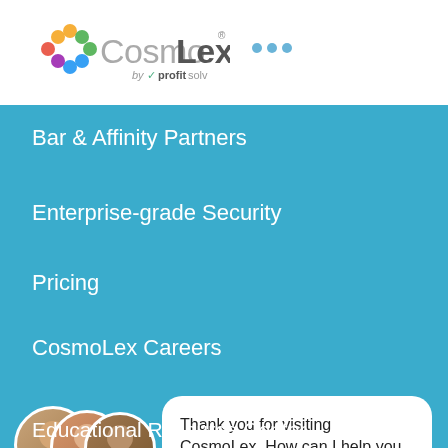[Figure (logo): CosmoLex logo by profitsolv, with colorful flower/circle icon and three blue dots]
Bar & Affinity Partners
Enterprise-grade Security
Pricing
CosmoLex Careers
[Figure (screenshot): Chat widget with avatars, online badge, speech bubble saying 'Thank you for visiting CosmoLex. How can I help you today?', Reply button, and X close button]
Educational Resource Center